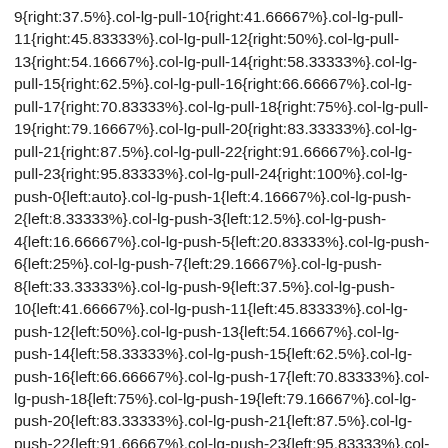9{right:37.5%}.col-lg-pull-10{right:41.66667%}.col-lg-pull-11{right:45.83333%}.col-lg-pull-12{right:50%}.col-lg-pull-13{right:54.16667%}.col-lg-pull-14{right:58.33333%}.col-lg-pull-15{right:62.5%}.col-lg-pull-16{right:66.66667%}.col-lg-pull-17{right:70.83333%}.col-lg-pull-18{right:75%}.col-lg-pull-19{right:79.16667%}.col-lg-pull-20{right:83.33333%}.col-lg-pull-21{right:87.5%}.col-lg-pull-22{right:91.66667%}.col-lg-pull-23{right:95.83333%}.col-lg-pull-24{right:100%}.col-lg-push-0{left:auto}.col-lg-push-1{left:4.16667%}.col-lg-push-2{left:8.33333%}.col-lg-push-3{left:12.5%}.col-lg-push-4{left:16.66667%}.col-lg-push-5{left:20.83333%}.col-lg-push-6{left:25%}.col-lg-push-7{left:29.16667%}.col-lg-push-8{left:33.33333%}.col-lg-push-9{left:37.5%}.col-lg-push-10{left:41.66667%}.col-lg-push-11{left:45.83333%}.col-lg-push-12{left:50%}.col-lg-push-13{left:54.16667%}.col-lg-push-14{left:58.33333%}.col-lg-push-15{left:62.5%}.col-lg-push-16{left:66.66667%}.col-lg-push-17{left:70.83333%}.col-lg-push-18{left:75%}.col-lg-push-19{left:79.16667%}.col-lg-push-20{left:83.33333%}.col-lg-push-21{left:87.5%}.col-lg-push-22{left:91.66667%}.col-lg-push-23{left:95.83333%}.col-lg-push-24{left:100%}.col-lg-offset-0{margin-left:0}.col-lg-offset-1{margin-left:4.16667%}.col-lg-offset-2{margin-left:8.33333%}.col-lg-offset-3{margin-left:12.5%}.col-lg-offset-4{margin-left:16.66667%}.col-lg-